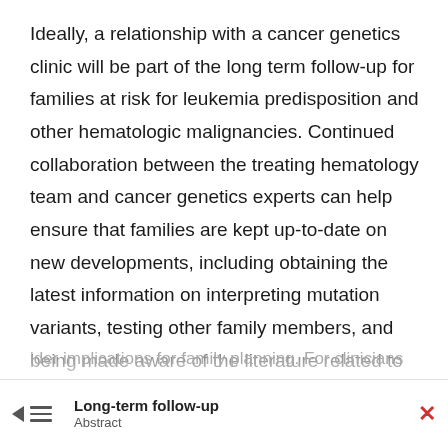Ideally, a relationship with a cancer genetics clinic will be part of the long term follow-up for families at risk for leukemia predisposition and other hematologic malignancies. Continued collaboration between the treating hematology team and cancer genetics experts can help ensure that families are kept up-to-date on new developments, including obtaining the latest information on interpreting mutation variants, testing other family members, and being made aware of the literature related to early malignancy surveillance. In addition, it is likely that the need for ongoing support for these families will continue as new health concerns arise, as relatives seek information about their risks, and as affected individuals
Long-term follow-up
Abstract